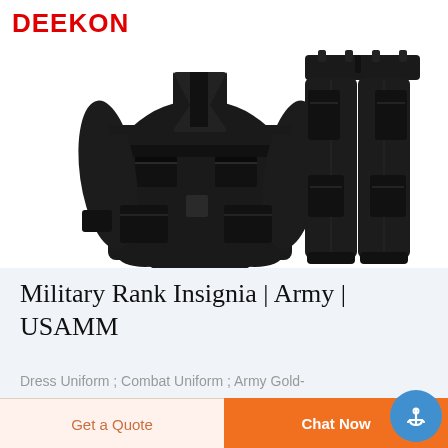[Figure (photo): Black military uniform set consisting of a combat jacket with multiple pockets and epaulettes, and matching black cargo trousers, displayed against a white background. DEEKON logo visible at top left.]
Military Rank Insignia | Army | USAMM
Dress Uniform ; Combat Uniform ; Army Gold-